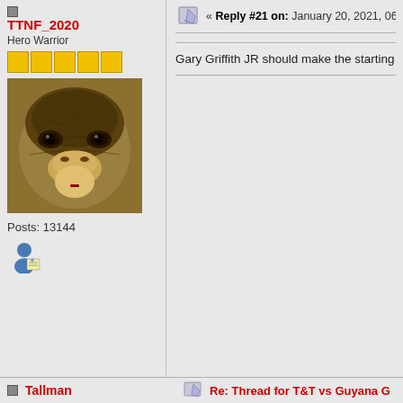TTNF_2020
Hero Warrior
[Figure (photo): Close-up photo of a snake's head, appearing to be a king cobra or similar large snake, facing the camera with scales visible]
Posts: 13144
[Figure (illustration): View profile icon - a small person silhouette with a card/badge]
« Reply #21 on: January 20, 2021, 06:53
Gary Griffith JR should make the starting
Tallman
Re: Thread for T&T vs Guyana G